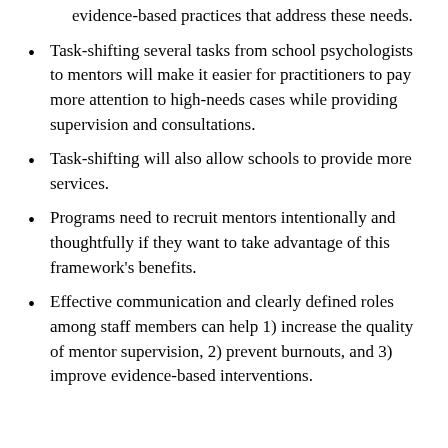evidence-based practices that address these needs.
Task-shifting several tasks from school psychologists to mentors will make it easier for practitioners to pay more attention to high-needs cases while providing supervision and consultations.
Task-shifting will also allow schools to provide more services.
Programs need to recruit mentors intentionally and thoughtfully if they want to take advantage of this framework's benefits.
Effective communication and clearly defined roles among staff members can help 1) increase the quality of mentor supervision, 2) prevent burnouts, and 3) improve evidence-based interventions.